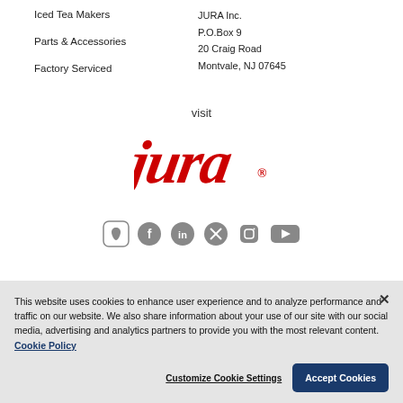Iced Tea Makers
Parts & Accessories
Factory Serviced
JURA Inc.
P.O.Box 9
20 Craig Road
Montvale, NJ 07645
visit
[Figure (logo): JURA logo in red italic script lettering]
[Figure (other): Social media icons row: Apple, Facebook, another social, Twitter/X, Instagram, YouTube]
This website uses cookies to enhance user experience and to analyze performance and traffic on our website. We also share information about your use of our site with our social media, advertising and analytics partners to provide you with the most relevant content. Cookie Policy
Customize Cookie Settings
Accept Cookies